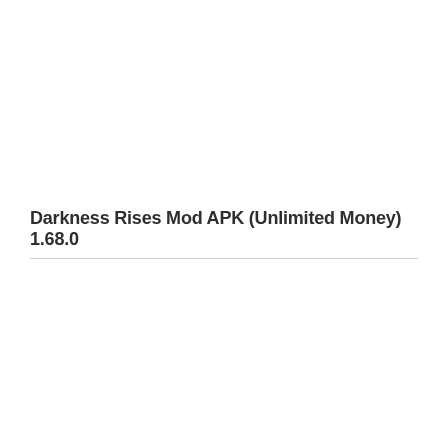Darkness Rises Mod APK (Unlimited Money) 1.68.0